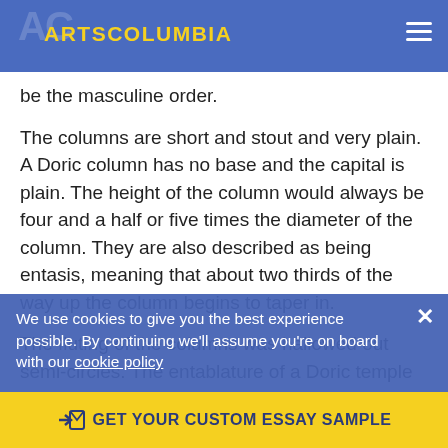ARTSCOLUMBIA
be the masculine order.
The columns are short and stout and very plain. A Doric column has no base and the capital is plain. The height of the column would always be four and a half or five times the diameter of the column. They are also described as being entasis, meaning that about two thirds of the way up the column begins to taper in.
The fluting of the columns was hallowed out semi-circles. The entablature of a Doric temple is also very plain. The cornice is plain, meaning there is no ornament on the cornice. The frieze is broken up into triglyohs and metopes.
A triglyph are a series of sculpted vertical lines, and a
We use cookies to give you the best experience possible. By continuing we'll assume you're on board with our cookie policy
GET YOUR CUSTOM ESSAY SAMPLE